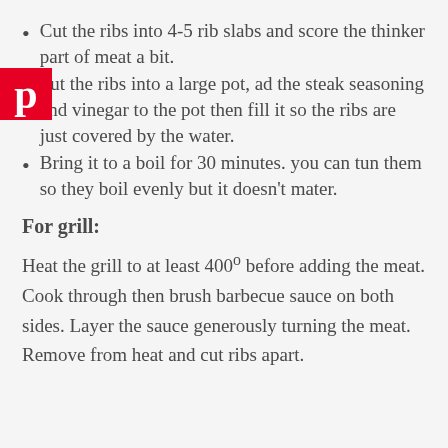Cut the ribs into 4-5 rib slabs and score the thinker part of meat a bit.
Put the ribs into a large pot, ad the steak seasoning and vinegar to the pot then fill it so the ribs are just covered by the water.
Bring it to a boil for 30 minutes. you can tun them so they boil evenly but it doesn’t mater.
For grill:
Heat the grill to at least 400º before adding the meat. Cook through then brush barbecue sauce on both sides. Layer the sauce generously turning the meat. Remove from heat and cut ribs apart.